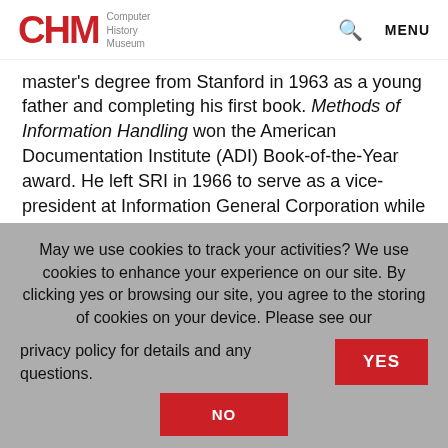CHM Computer History Museum
master's degree from Stanford in 1963 as a young father and completing his first book. Methods of Information Handling won the American Documentation Institute (ADI) Book-of-the-Year award. He left SRI in 1966 to serve as a vice-president at Information General Corporation while consulting widely in the information industry, as he did for most of his long career.
May we use cookies to track your activities? We use cookies to enhance your experience on our site. By clicking yes or browsing our site, you agree to the storing of cookies on your device. Please see our privacy policy for details and any questions.